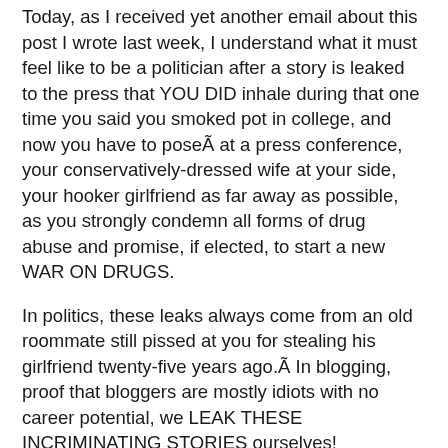Today, as I received yet another email about this post I wrote last week, I understand what it must feel like to be a politician after a story is leaked to the press that YOU DID inhale during that one time you said you smoked pot in college, and now you have to poseÃ  at a press conference, your conservatively-dressed wife at your side, your hooker girlfriend as far away as possible, as you strongly condemn all forms of drug abuse and promise, if elected, to start a new WAR ON DRUGS.
In politics, these leaks always come from an old roommate still pissed at you for stealing his girlfriend twenty-five years ago.Ã  In blogging, proof that bloggers are mostly idiots with no career potential, we LEAK THESE INCRIMINATING STORIES ourselves!
Of course, as blogging becomes more professional, bloggers are growing smarter and more media savvy.Ã Ã  Let me re-phrase that.Ã  Some bloggers are growing smarter.Ã  And we are learning the best of blogging.